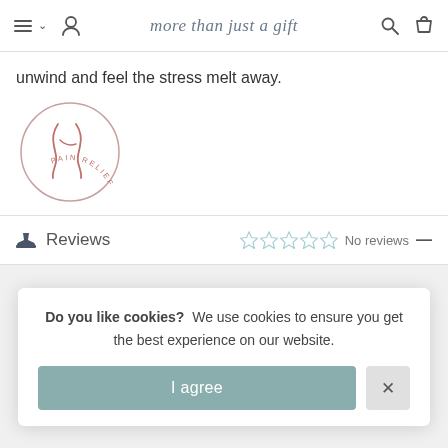more than just a gift
unwind and feel the stress melt away.
[Figure (logo): Pain Relief circular logo with stylized figure outline and text 'PAIN RELIEF' around the circle]
Reviews — No reviews
Customer Reviews
Do you like cookies? We use cookies to ensure you get the best experience on our website.
I agree